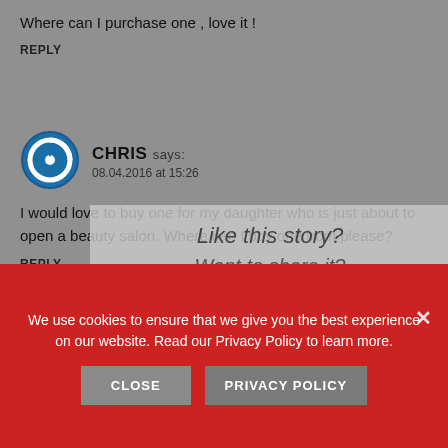Where can I purchase one , love it !
REPLY
[Figure (illustration): Blue circular power/user avatar icon for commenter CHRIS]
CHRIS says: 08.04.2016 at 15:26
I would love to buy one for my daughter who is just about to open a beauty salon. Where can I buy one from please?
REPLY
[Figure (infographic): Share overlay with text 'Like this story? Want to share it?' with product images below]
We use cookies to ensure that we give you the best experience on our website. Read our Privacy Policy to learn more.
CLOSE
PRIVACY POLICY